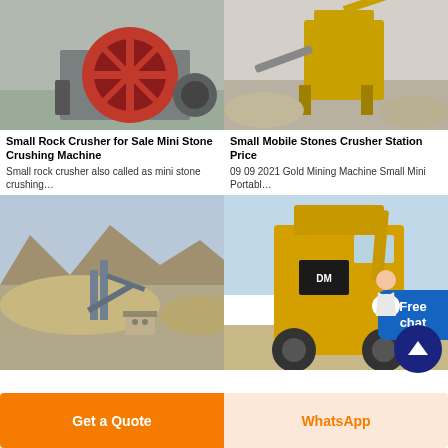[Figure (photo): Close-up of a red flywheel on a rock crusher machine]
[Figure (photo): Yellow mobile stones crusher station with aggregate piles]
Small Rock Crusher for Sale Mini Stone Crushing Machine
Small rock crusher also called as mini stone crushing…
Chatear en línea
Small Mobile Stones Crusher Station Price
09 09 2021  Gold Mining Machine Small Mini Portabl…
Chatear en línea
[Figure (photo): Outdoor mining/crushing plant with conveyor belts and mountains in background]
[Figure (photo): Yellow heavy mining equipment against a blue sky]
Free chat
Get a Quote
WhatsApp